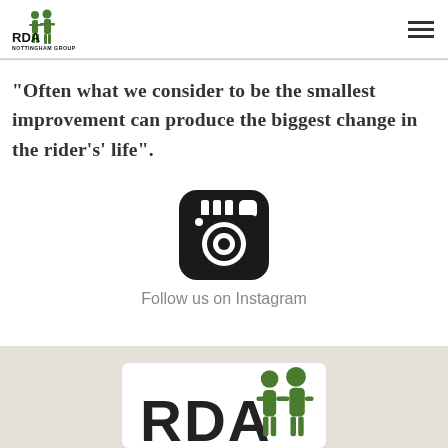RDA Nottingham Group
"Often what we consider to be the smallest improvement can produce the biggest change in the rider's' life".
[Figure (logo): Instagram camera icon — black rounded square with white camera graphic]
Follow us on Instagram
[Figure (logo): RDA Nottingham Group logo — partial view in white card on grey background footer]